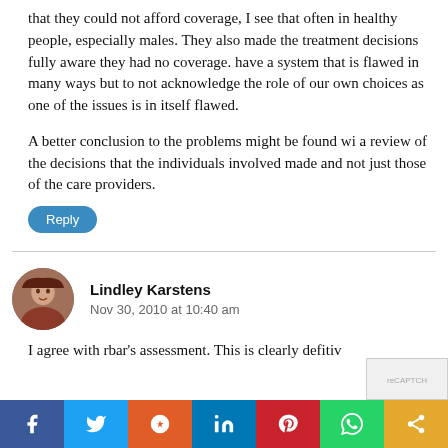that they could not afford coverage, I see that often in healthy people, especially males. They also made the treatment decisions fully aware they had no coverage. have a system that is flawed in many ways but to not acknowledge the role of our own choices as one of the issues is in itself flawed.
A better conclusion to the problems might be found with a review of the decisions that the individuals involved made and not just those of the care providers.
Reply
Lindley Karstens
Nov 30, 2010 at 10:40 am
I agree with rbar's assessment. This is clearly defitiv...